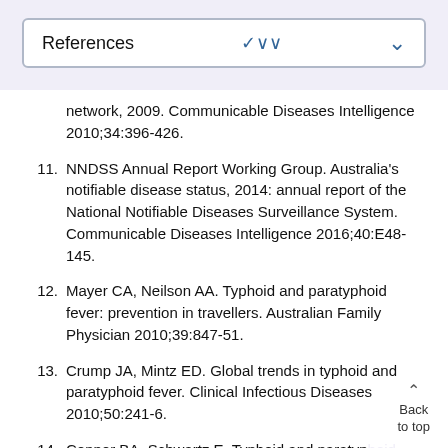References
network, 2009. Communicable Diseases Intelligence 2010;34:396-426.
11. NNDSS Annual Report Working Group. Australia's notifiable disease status, 2014: annual report of the National Notifiable Diseases Surveillance System. Communicable Diseases Intelligence 2016;40:E48-145.
12. Mayer CA, Neilson AA. Typhoid and paratyphoid fever: prevention in travellers. Australian Family Physician 2010;39:847-51.
13. Crump JA, Mintz ED. Global trends in typhoid and paratyphoid fever. Clinical Infectious Diseases 2010;50:241-6.
14. Connor BA, Schwartz E. Typhoid and paratyphoid